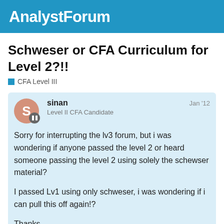AnalystForum
Schweser or CFA Curriculum for Level 2?!!
CFA Level III
sinan
Level II CFA Candidate
Jan '12
Sorry for interrupting the lv3 forum, but i was wondering if anyone passed the level 2 or heard someone passing the level 2 using solely the schewser material?

I passed Lv1 using only schweser, i was wondering if i can pull this off again!?

Thanks.
1 / 10